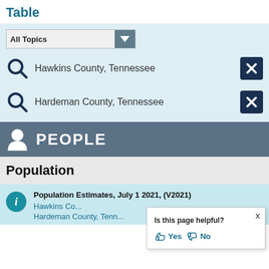Table
All Topics
Hawkins County, Tennessee
Hardeman County, Tennessee
PEOPLE
Population
Population Estimates, July 1 2021, (V2021)
Hawkins Co...
Hardeman County, Tenn...
Is this page helpful? Yes No